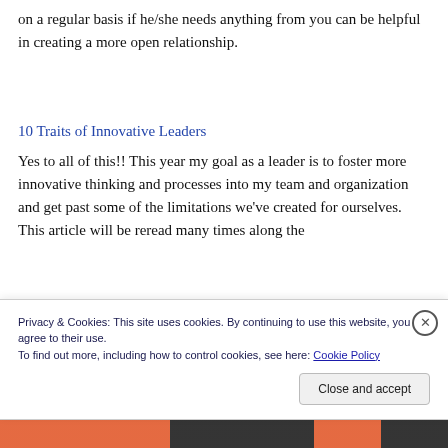on a regular basis if he/she needs anything from you can be helpful in creating a more open relationship.
10 Traits of Innovative Leaders
Yes to all of this!! This year my goal as a leader is to foster more innovative thinking and processes into my team and organization and get past some of the limitations we've created for ourselves. This article will be reread many times along the
Privacy & Cookies: This site uses cookies. By continuing to use this website, you agree to their use.
To find out more, including how to control cookies, see here: Cookie Policy
Close and accept